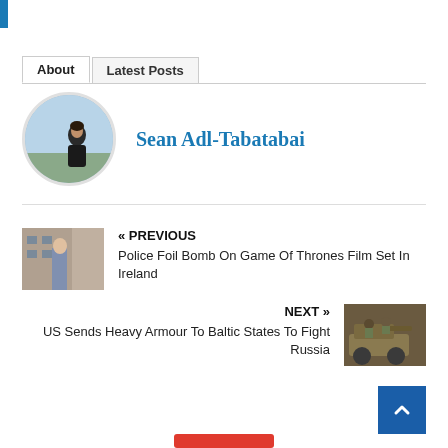About | Latest Posts
Sean Adl-Tabatabai
[Figure (photo): Circular avatar photo of a person outdoors with sky background]
« PREVIOUS
Police Foil Bomb On Game Of Thrones Film Set In Ireland
[Figure (photo): Thumbnail showing a person near steps of a building]
NEXT »
US Sends Heavy Armour To Baltic States To Fight Russia
[Figure (photo): Thumbnail showing military vehicle with soldiers]